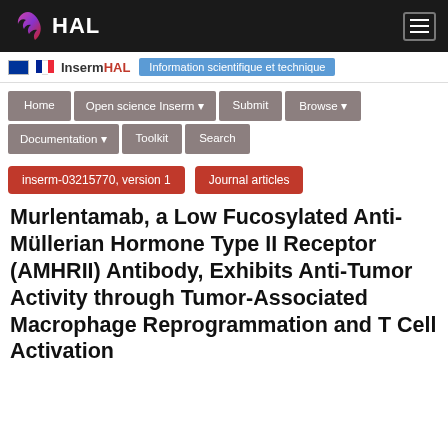HAL
[Figure (logo): InsermHAL banner with EU and French flags, text 'InsermHAL' and 'Information scientifique et technique']
Home
Open science Inserm
Submit
Browse
Documentation
Toolkit
Search
inserm-03215770, version 1
Journal articles
Murlentamab, a Low Fucosylated Anti-Müllerian Hormone Type II Receptor (AMHRII) Antibody, Exhibits Anti-Tumor Activity through Tumor-Associated Macrophage Reprogrammation and T Cell Activation